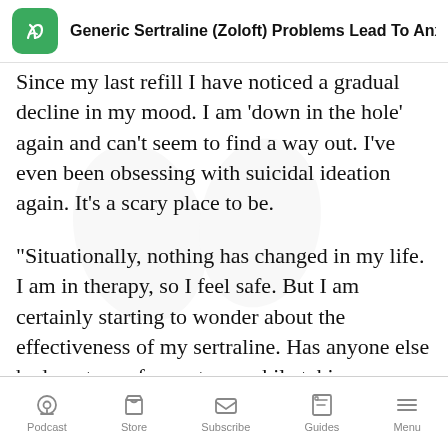Generic Sertraline (Zoloft) Problems Lead To Anxi
Since my last refill I have noticed a gradual decline in my mood. I am ‘down in the hole’ again and can’t seem to find a way out. I’ve even been obsessing with suicidal ideation again. It’s a scary place to be.
“Situationally, nothing has changed in my life. I am in therapy, so I feel safe. But I am certainly starting to wonder about the effectiveness of my sertraline. Has anyone else had a return of symptoms while taking
Podcast  Store  Subscribe  Guides  Menu